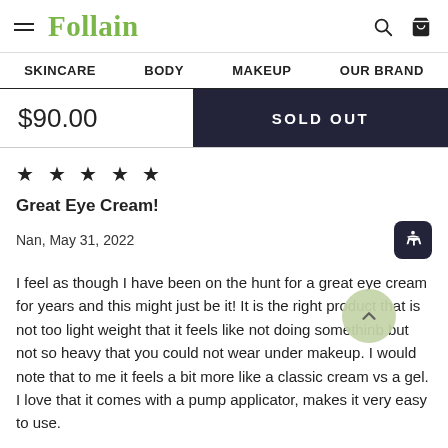Follain — SKINCARE  BODY  MAKEUP  OUR BRAND
$90.00
SOLD OUT
★ ★ ★ ★ ★
Great Eye Cream!
Nan, May 31, 2022
I feel as though I have been on the hunt for a great eye cream for years and this might just be it! It is the right product that is not too light weight that it feels like not doing somethinb but not so heavy that you could not wear under makeup. I would note that to me it feels a bit more like a classic cream vs a gel. I love that it comes with a pump applicator, makes it very easy to use.
Mark as helpful